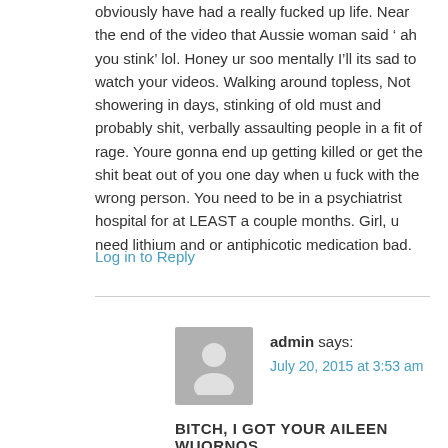obviously have had a really fucked up life. Near the end of the video that Aussie woman said ‘ ah you stink’ lol. Honey ur soo mentally I’ll its sad to watch your videos. Walking around topless, Not showering in days, stinking of old must and probably shit, verbally assaulting people in a fit of rage. Youre gonna end up getting killed or get the shit beat out of you one day when u fuck with the wrong person. You need to be in a psychiatrist hospital for at LEAST a couple months. Girl, u need lithium and or antiphicotic medication bad.
Log in to Reply
[Figure (illustration): Gray avatar placeholder image showing a generic person silhouette]
admin says:
July 20, 2015 at 3:53 am
BITCH, I GOT YOUR AILEEN WUORNOS